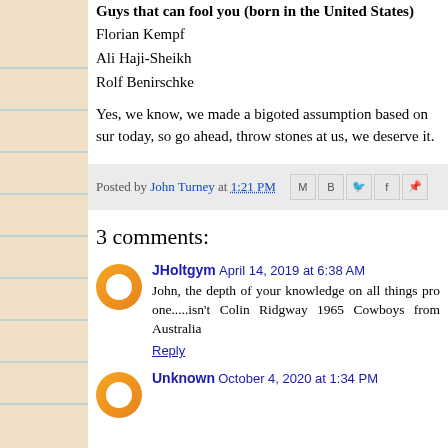Guys that can fool you (born in the United States)
Florian Kempf
Ali Haji-Sheikh
Rolf Benirschke
Yes, we know, we made a bigoted assumption based on sur today, so go ahead, throw stones at us, we deserve it.
Posted by John Turney at 1:21 PM
3 comments:
JHoltgym April 14, 2019 at 6:38 AM
John, the depth of your knowledge on all things pro one.....isn't Colin Ridgway 1965 Cowboys from Australia
Reply
Unknown October 4, 2020 at 1:34 PM